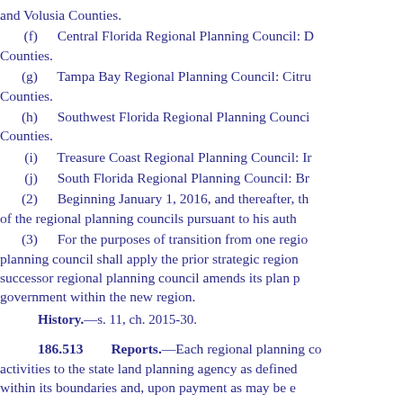and Volusia Counties.
(f)    Central Florida Regional Planning Council: D Counties.
(g)    Tampa Bay Regional Planning Council: Citru Counties.
(h)    Southwest Florida Regional Planning Counci Counties.
(i)    Treasure Coast Regional Planning Council: Ir
(j)    South Florida Regional Planning Council: Br
(2)    Beginning January 1, 2016, and thereafter, th of the regional planning councils pursuant to his auth
(3)    For the purposes of transition from one regio planning council shall apply the prior strategic region successor regional planning council amends its plan p government within the new region.
History.—s. 11, ch. 2015-30.
186.513    Reports.
—Each regional planning co activities to the state land planning agency as defined within its boundaries and, upon payment as may be e
History.—ss. 3, 5, ch. 80-315; s. 4, ch. 82-46; s. 1, ch. 92-18; 2015-30.
Note.—Former s. 160.08.